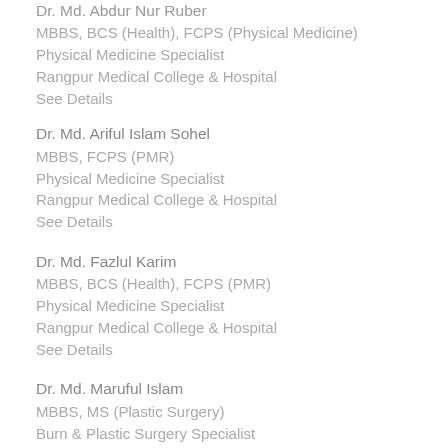Dr. Md. Abdur Nur Ruber
MBBS, BCS (Health), FCPS (Physical Medicine)
Physical Medicine Specialist
Rangpur Medical College & Hospital
See Details
Dr. Md. Ariful Islam Sohel
MBBS, FCPS (PMR)
Physical Medicine Specialist
Rangpur Medical College & Hospital
See Details
Dr. Md. Fazlul Karim
MBBS, BCS (Health), FCPS (PMR)
Physical Medicine Specialist
Rangpur Medical College & Hospital
See Details
Dr. Md. Maruful Islam
MBBS, MS (Plastic Surgery)
Burn & Plastic Surgery Specialist
Rangpur Medical College & Hospital